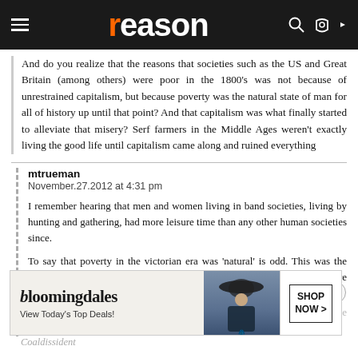reason
And do you realize that the reasons that societies such as the US and Great Britain (among others) were poor in the 1800's was not because of unrestrained capitalism, but because poverty was the natural state of man for all of history up until that point? And that capitalism was what finally started to alleviate that misery? Serf farmers in the Middle Ages weren't exactly living the good life until capitalism came along and ruined everything
mtrueman
November.27.2012 at 4:31 pm
I remember hearing that men and women living in band societies, living by hunting and gathering, had more leisure time than any other human societies since.
To say that poverty in the victorian era was 'natural' is odd. This was the time of the Industrial Revolution, and new manufacturing processes were introduced that made food, clothing etc in unheard of abundance. Reconciling the plenty and poverty that existed side by side as 'natural' indicates to you that you need to think this thr
[Figure (screenshot): Bloomingdale's advertisement banner: 'View Today's Top Deals!' with SHOP NOW button and image of woman in hat]
Coaldissident